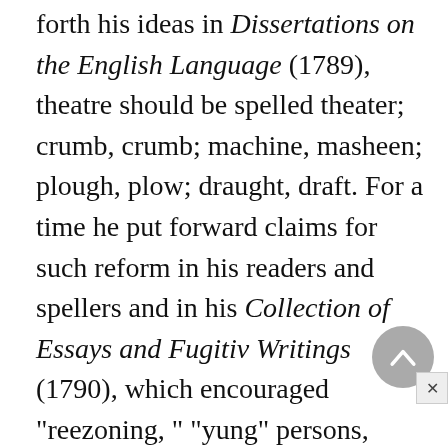forth his ideas in Dissertations on the English Language (1789), theatre should be spelled theater; crumb, crumb; machine, masheen; plough, plow; draught, draft. For a time he put forward claims for such reform in his readers and spellers and in his Collection of Essays and Fugitiv Writings (1790), which encouraged "reezoning, " "yung" persons, "reeding, " and a "zeel" for "lerning"; but he was too canny a Yankee always to allow eccentricity to stand in the way of